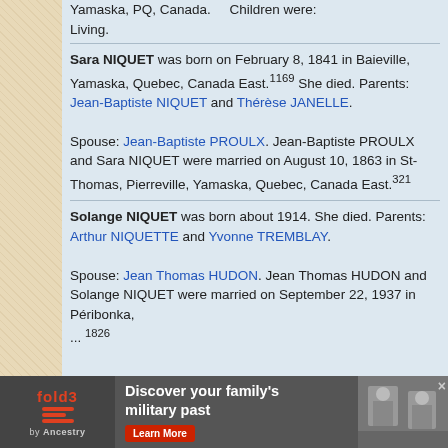Yamaska, PQ, Canada. Children were: Living.
Sara NIQUET was born on February 8, 1841 in Baieville, Yamaska, Quebec, Canada East.1169 She died. Parents: Jean-Baptiste NIQUET and Thérèse JANELLE. Spouse: Jean-Baptiste PROULX. Jean-Baptiste PROULX and Sara NIQUET were married on August 10, 1863 in St-Thomas, Pierreville, Yamaska, Quebec, Canada East.321
Solange NIQUET was born about 1914. She died. Parents: Arthur NIQUETTE and Yvonne TREMBLAY. Spouse: Jean Thomas HUDON. Jean Thomas HUDON and Solange NIQUET were married on September 22, 1937 in Péribonka...
[Figure (other): fold3 by Ancestry advertisement banner: 'Discover your family's military past' with Learn More button and historical photograph]